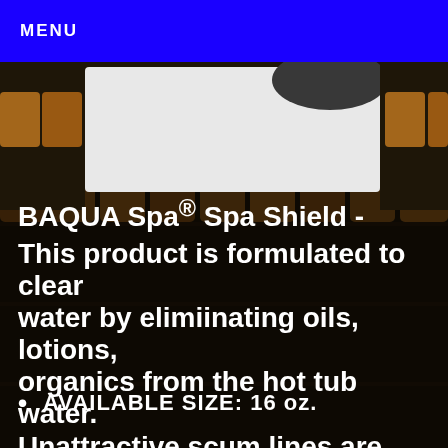MENU
[Figure (photo): Product image area showing BAQUA Spa Spa Shield bottle partially visible at top against a dark background with shelves of products]
BAQUA Spa® Spa Shield - This product is formulated to clear water by elimiinating oils, lotions, organics from the hot tub water. Unattractive scum lines are removed filters are protected from oily build
AVAILABLE SIZE: 16 oz.